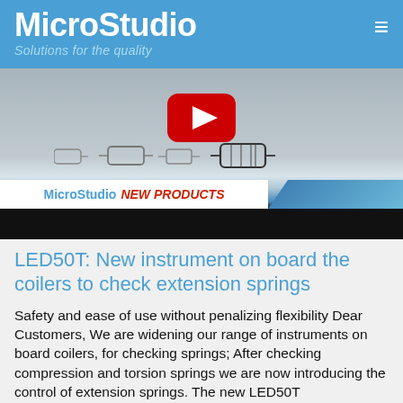MicroStudio — Solutions for the quality
[Figure (screenshot): YouTube video thumbnail showing small metal extension springs on a white surface, with a red YouTube play button overlay, and a banner reading 'MicroStudio NEW PRODUCTS']
LED50T: New instrument on board the coilers to check extension springs
Safety and ease of use without penalizing flexibility Dear Customers, We are widening our range of instruments on board coilers, for checking springs; After checking compression and torsion springs we are now introducing the control of extension springs. The new LED50T